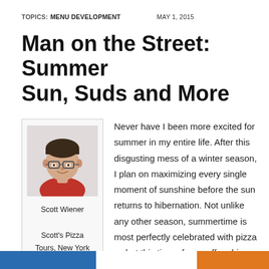TOPICS:  MENU DEVELOPMENT    MAY 1, 2015
Man on the Street: Summer Sun, Suds and More
[Figure (photo): Headshot photo of Scott Wiener wearing a red shirt and glasses, smiling]
Scott Wiener

Scott's Pizza Tours, New York City
Never have I been more excited for summer in my entire life. After this disgusting mess of a winter season, I plan on maximizing every single moment of sunshine before the sun returns to hibernation. Not unlike any other season, summertime is most perfectly celebrated with pizza — but this time of year offers big opportunities for restaurants and their customers.